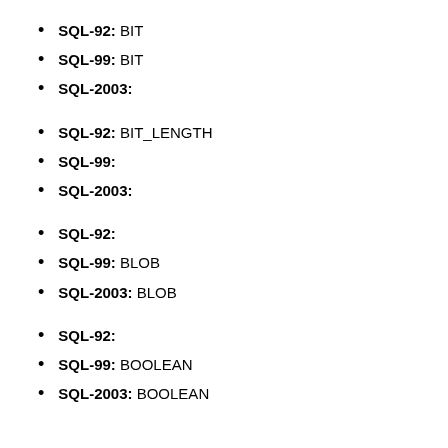SQL-92: BIT
SQL-99: BIT
SQL-2003:
SQL-92: BIT_LENGTH
SQL-99:
SQL-2003:
SQL-92:
SQL-99: BLOB
SQL-2003: BLOB
SQL-92:
SQL-99: BOOLEAN
SQL-2003: BOOLEAN